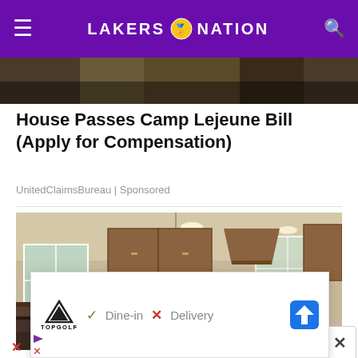LAKERS NATION
[Figure (screenshot): Partial image strip at top of page below header]
House Passes Camp Lejeune Bill (Apply for Compensation)
UnitedClaimsBureau | Sponsored
[Figure (photo): Kitchen interior with wood cabinets, granite countertops, stainless steel appliances, pendant lights, and a dining area visible in background]
[Figure (screenshot): Overlay advertisement for Topgolf showing Dine-in checkmark, Delivery X, and navigation arrow icon. Small X close button in corner.]